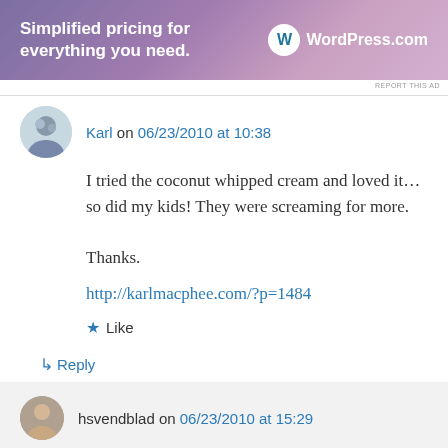[Figure (illustration): WordPress.com advertisement banner with gradient purple/pink background. Text: 'Simplified pricing for everything you need.' with WordPress.com logo on the right.]
REPORT THIS AD
Karl on 06/23/2010 at 10:38
I tried the coconut whipped cream and loved it… so did my kids! They were screaming for more.

Thanks.

http://karlmacphee.com/?p=1484
★ Like
↳ Reply
hsvendblad on 06/23/2010 at 15:29
Karl – I was reading your blog just this